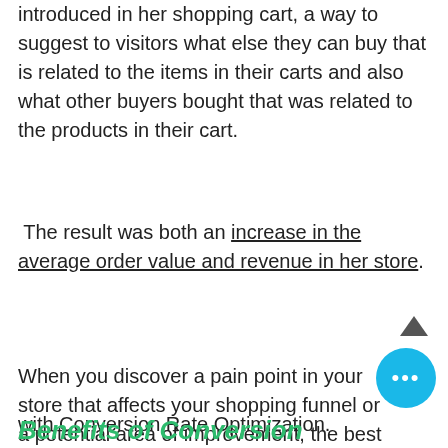introduced in her shopping cart, a way to suggest to visitors what else they can buy that is related to the items in their carts and also what other buyers bought that was related to the products in their cart.
The result was both an increase in the average order value and revenue in her store.
When you discover a pain point in your store that affects your shopping funnel or a potential area of improvement, the best way to start with Conversion Rate Optimization.
Benefits of Conversion